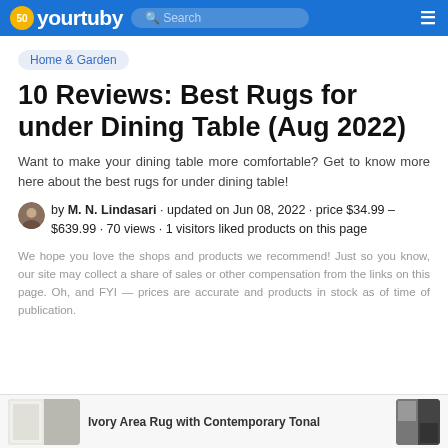yourtuby — Search
Home & Garden
10 Reviews: Best Rugs for under Dining Table (Aug 2022)
Want to make your dining table more comfortable? Get to know more here about the best rugs for under dining table!
by M. N. Lindasari · updated on Jun 08, 2022 · price $34.99 - $639.99 · 70 views · 1 visitors liked products on this page
We hope you love the shops and products we recommend! Just so you know, our site may collect a share of sales or other compensation from the links on this page. Oh, and FYI — prices are accurate and products in stock as of time of publication.
[Figure (photo): Thumbnail image of an ivory area rug with contemporary tonal pattern at the bottom of the page]